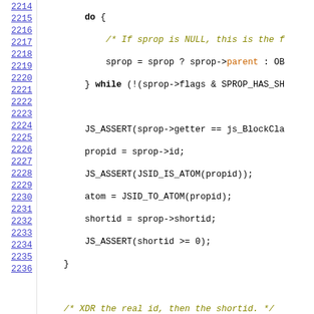[Figure (screenshot): Source code viewer showing C/C++ code lines 2214-2235 with line numbers on the left as hyperlinks, syntax highlighted code on the right including a do-while loop, JS_ASSERT calls, XDR operations, and an if statement checking xdr->mode == JSXDR_DECODE.]